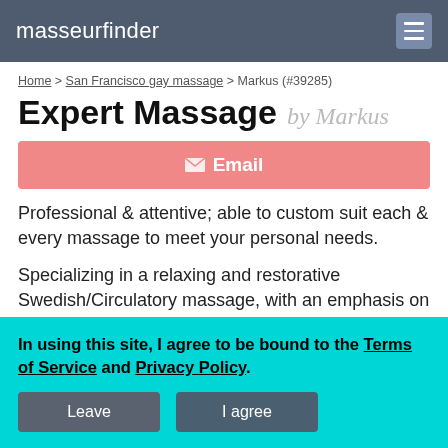masseurfinder
Home > San Francisco gay massage > Markus (#39285)
Expert Massage by Markus
✉ Email
Professional & attentive; able to custom suit each & every massage to meet your personal needs.
Specializing in a relaxing and restorative Swedish/Circulatory massage, with an emphasis on deep
In using this site, I agree to be bound to the Terms of Service and Privacy Policy.
Leave    I agree